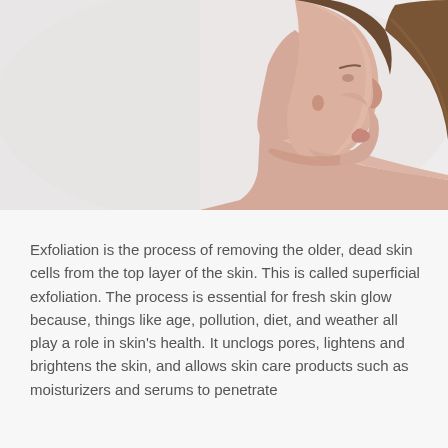[Figure (photo): A woman photographed from the side/back showing her face in profile and bare shoulder against a light gray/white background, with long brown hair pulled back.]
Exfoliation is the process of removing the older, dead skin cells from the top layer of the skin. This is called superficial exfoliation. The process is essential for fresh skin glow because, things like age, pollution, diet, and weather all play a role in skin's health. It unclogs pores, lightens and brightens the skin, and allows skin care products such as moisturizers and serums to penetrate